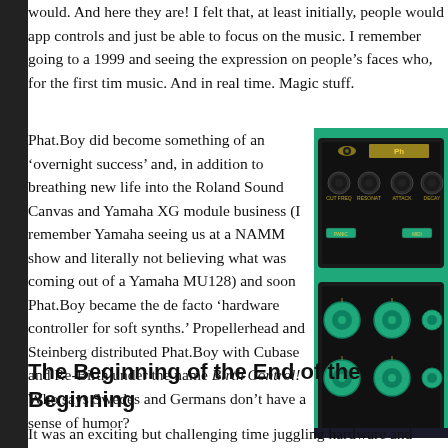would. And here they are! I felt that, at least initially, people would app controls and just be able to focus on the music. I remember going to a 1999 and seeing the expression on people's faces who, for the first tim music. And in real time. Magic stuff.
Phat.Boy did become something of an ‘overnight success’ and, in addition to breathing new life into the Roland Sound Canvas and Yamaha XG module business (I remember Yamaha seeing us at a NAMM show and literally not believing what was coming out of a Yamaha MU128) and soon Phat.Boy became the de facto ‘hardware controller for soft synths.’ Propellerhead and Steinberg distributed Phat.Boy with Cubase and Re-Birth under the name Birth Control! Who says Swedes and Germans don’t have a sense of humor?
[Figure (photo): Photo of Phat.Boy hardware controller device on a green background, showing knobs and controls. Two units visible, stacked.]
The Beginning of the End of the Beginning
It was an exciting but challenging time juggling hardware and software people, one still in the UK and one freshly ensconced in a suite of office a major step up from the basement of my house in Aptos.